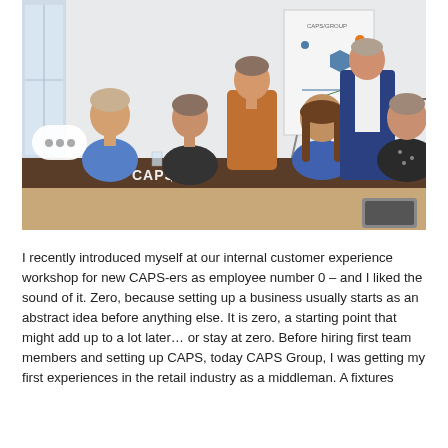[Figure (photo): A business meeting scene in a modern conference room. Several people sit around a table with a CAPS Group sign. A man in a blue suit stands at a flip chart presenting. A woman in an orange jacket stands near the chart. People at the table include a man in a blue shirt, a woman in black, and a woman with long brown hair facing away. Another woman in a dark patterned top sits at the right.]
I recently introduced myself at our internal customer experience workshop for new CAPS-ers as employee number 0 – and I liked the sound of it. Zero, because setting up a business usually starts as an abstract idea before anything else. It is zero, a starting point that might add up to a lot later… or stay at zero. Before hiring first team members and setting up CAPS, today CAPS Group, I was getting my first experiences in the retail industry as a middleman. A fixtures